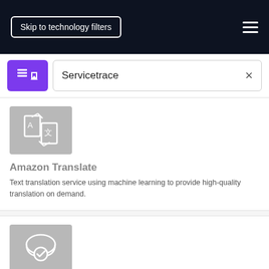Skip to technology filters
Servicetrace
[Figure (illustration): Amazon Translate service icon: grey square with translation/document icon]
Amazon Translate
Text translation service using machine learning to provide high-quality translation on demand.
[Figure (illustration): Amazon VPC NAT Gateway icon: grey square with cloud and shield icon]
Amazon VPC (NAT Gateway)